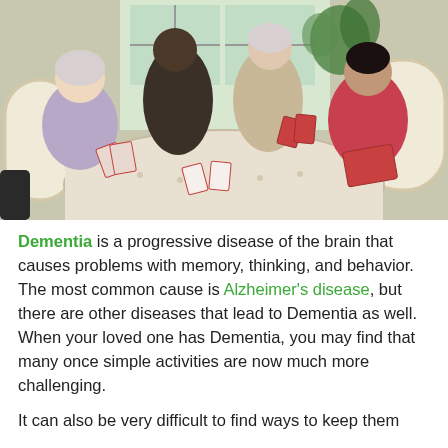[Figure (photo): Four elderly people sitting around a table playing cards together indoors, in front of wicker furniture and a bright window with plants.]
Dementia is a progressive disease of the brain that causes problems with memory, thinking, and behavior. The most common cause is Alzheimer's disease, but there are other diseases that lead to Dementia as well. When your loved one has Dementia, you may find that many once simple activities are now much more challenging.
It can also be very difficult to find ways to keep them